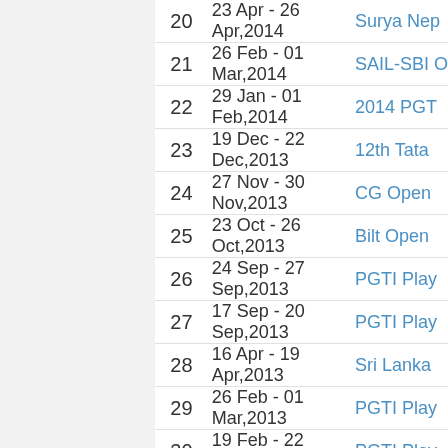| # | Date | Tournament |
| --- | --- | --- |
| 20 | 23 Apr - 26 Apr,2014 | Surya Nep… |
| 21 | 26 Feb - 01 Mar,2014 | SAIL-SBI O… |
| 22 | 29 Jan - 01 Feb,2014 | 2014 PGT… |
| 23 | 19 Dec - 22 Dec,2013 | 12th Tata… |
| 24 | 27 Nov - 30 Nov,2013 | CG Open… |
| 25 | 23 Oct - 26 Oct,2013 | Bilt Open… |
| 26 | 24 Sep - 27 Sep,2013 | PGTI Play… |
| 27 | 17 Sep - 20 Sep,2013 | PGTI Play… |
| 28 | 16 Apr - 19 Apr,2013 | Sri Lanka… |
| 29 | 26 Feb - 01 Mar,2013 | PGTI Play… |
| 30 | 19 Feb - 22 Feb,2013 | PGTI Play… |
| 31 | 22 Nov - 25 Nov,2012 | 11TH TAT… |